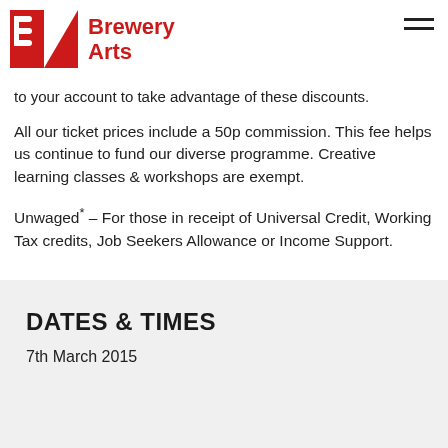Brewery Arts
to your account to take advantage of these discounts.
All our ticket prices include a 50p commission. This fee helps us continue to fund our diverse programme. Creative learning classes & workshops are exempt.
Unwaged* – For those in receipt of Universal Credit, Working Tax credits, Job Seekers Allowance or Income Support.
DATES & TIMES
7th March 2015